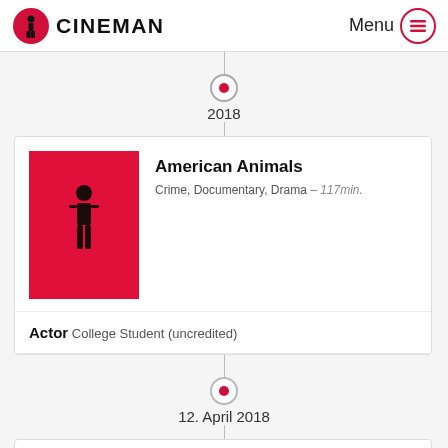CINEMAN — Menu
2018
[Figure (illustration): Movie poster for American Animals — red background with black silhouette of a standing man]
American Animals
Crime, Documentary, Drama – 117min.
Actor College Student (uncredited)
12. April 2018